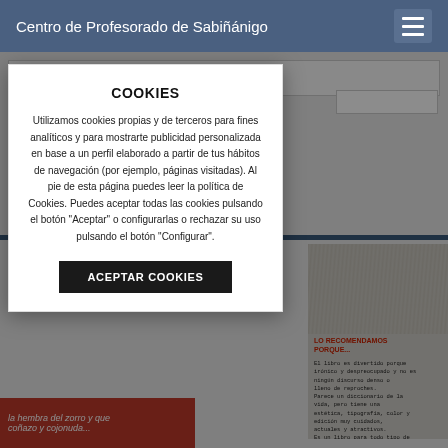Centro de Profesorado de Sabiñánigo
COOKIES
Utilizamos cookies propias y de terceros para fines analíticos y para mostrarte publicidad personalizada en base a un perfil elaborado a partir de tus hábitos de navegación (por ejemplo, páginas visitadas). Al pie de esta página puedes leer la política de Cookies. Puedes aceptar todas las cookies pulsando el botón "Aceptar" o configurarlas o rechazar su uso pulsando el botón "Configurar".
ACEPTAR COOKIES
[Figure (screenshot): Background of a webpage with partially visible form fields, a blue horizontal bar, and a book image on the right with handwritten-style text and a red label reading 'LO RECOMENDAMOS PORQUE...']